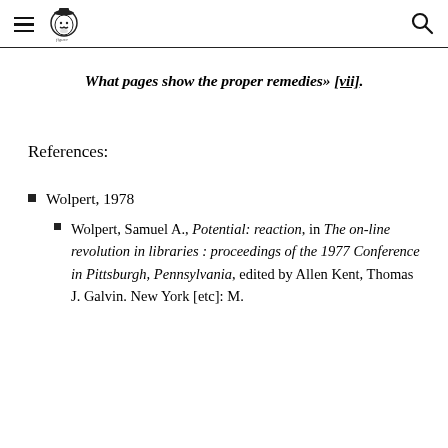What pages show the proper remedies» [vii].
References:
Wolpert, 1978
Wolpert, Samuel A., Potential: reaction, in The on-line revolution in libraries : proceedings of the 1977 Conference in Pittsburgh, Pennsylvania, edited by Allen Kent, Thomas J. Galvin. New York [etc]: M.